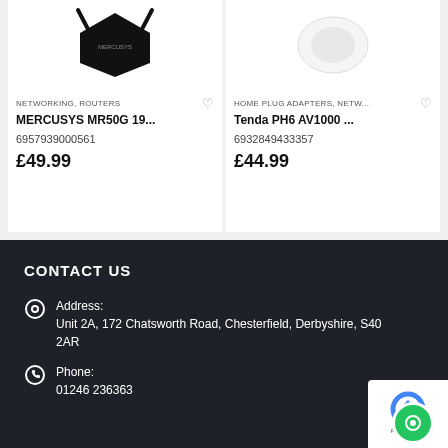[Figure (photo): Mercusys MR50G router product image, black hexagonal router on white background]
[Figure (photo): Tenda PH6 AV1000 product image, white device on white background]
NETWORKING, ROUTERS
MERCUSYS MR50G 19...
6957939000561
£49.99
HOME PLUG ADAPTERS, NETW...
Tenda PH6 AV1000 ...
6932849433357
£44.99
CONTACT US
Address:
Unit 2A, 172 Chatsworth Road, Chesterfield, Derbyshire, S40 2AR
Phone:
01246 236363